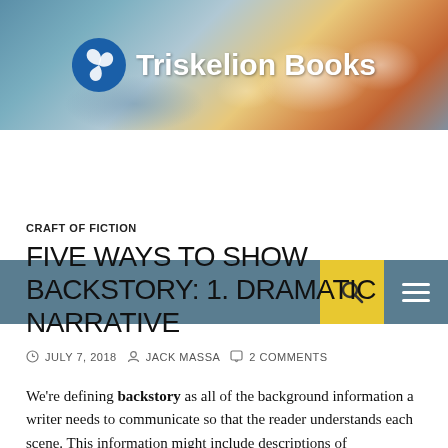[Figure (illustration): Triskelion Books website header banner with sky/cloud background photo and logo (blue triskelion spiral icon) and white bold text 'Triskelion Books']
Triskelion Books
CRAFT OF FICTION
FIVE WAYS TO SHOW BACKSTORY: 1. DRAMATIC NARRATIVE
JULY 7, 2018   JACK MASSA   2 COMMENTS
We're defining backstory as all of the background information a writer needs to communicate so that the reader understands each scene. This information might include descriptions of